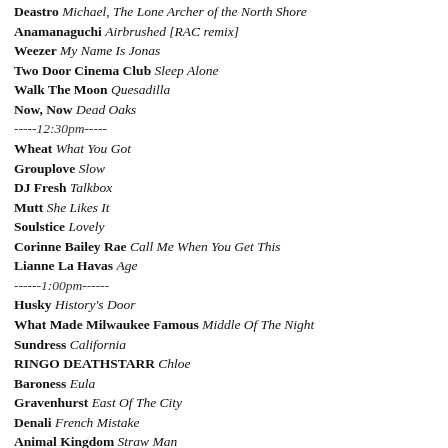Deastro Michael, The Lone Archer of the North Shore
Anamanaguchi Airbrushed [RAC remix]
Weezer My Name Is Jonas
Two Door Cinema Club Sleep Alone
Walk The Moon Quesadilla
Now, Now Dead Oaks
-----12:30pm-----
Wheat What You Got
Grouplove Slow
DJ Fresh Talkbox
Mutt She Likes It
Soulstice Lovely
Corinne Bailey Rae Call Me When You Get This
Lianne La Havas Age
------1:00pm------
Husky History's Door
What Made Milwaukee Famous Middle Of The Night
Sundress California
RINGO DEATHSTARR Chloe
Baroness Eula
Gravenhurst East Of The City
Denali French Mistake
Animal Kingdom Straw Man
------1:30pm------
UNKLE The Answer [Trentemøller remix]